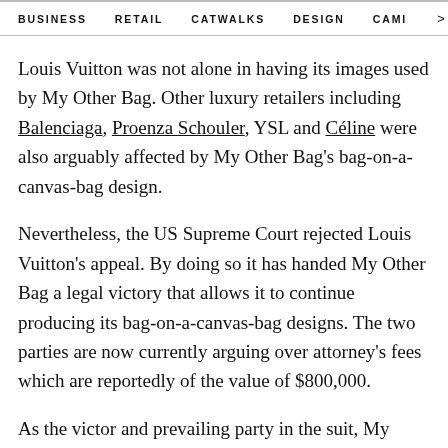BUSINESS   RETAIL   CATWALKS   DESIGN   CAMI  >
Louis Vuitton was not alone in having its images used by My Other Bag. Other luxury retailers including Balenciaga, Proenza Schouler, YSL and Céline were also arguably affected by My Other Bag's bag-on-a-canvas-bag design.
Nevertheless, the US Supreme Court rejected Louis Vuitton's appeal. By doing so it has handed My Other Bag a legal victory that allows it to continue producing its bag-on-a-canvas-bag designs. The two parties are now currently arguing over attorney's fees which are reportedly of the value of $800,000.
As the victor and prevailing party in the suit, My Other